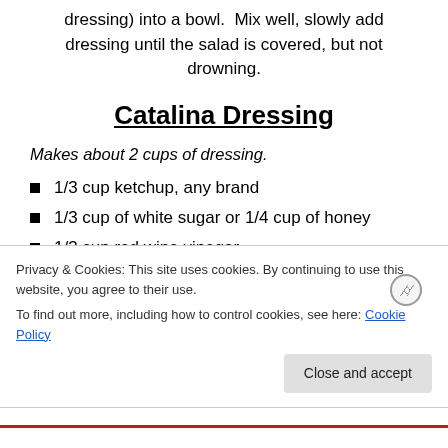dressing) into a bowl.  Mix well, slowly add dressing until the salad is covered, but not drowning.
Catalina Dressing
Makes about 2 cups of dressing.
1/3 cup ketchup, any brand
1/3 cup of white sugar or 1/4 cup of honey
1/3 cup red wine vinegar
1/3 cup onion, grated
Privacy & Cookies: This site uses cookies. By continuing to use this website, you agree to their use. To find out more, including how to control cookies, see here: Cookie Policy